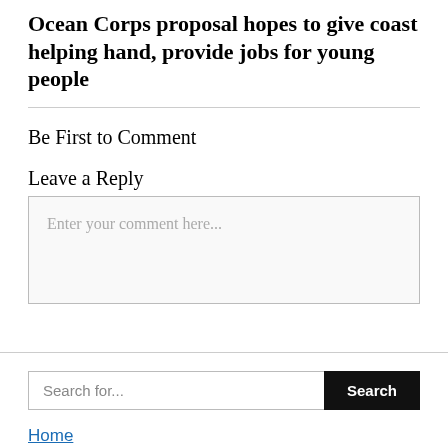Ocean Corps proposal hopes to give coast helping hand, provide jobs for young people
Be First to Comment
Leave a Reply
Enter your comment here...
Search for...
Search
Home
Privacy Policy